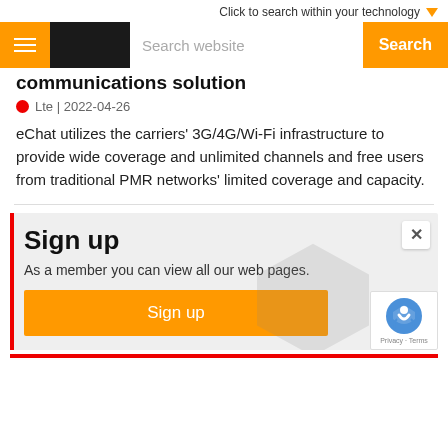Click to search within your technology
communications solution
Lte | 2022-04-26
eChat utilizes the carriers' 3G/4G/Wi-Fi infrastructure to provide wide coverage and unlimited channels and free users from traditional PMR networks' limited coverage and capacity.
Sign up
As a member you can view all our web pages.
Sign up